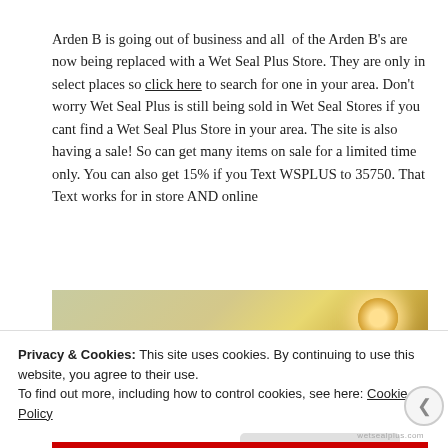Arden B is going out of business and all  of the Arden B's are now being replaced with a Wet Seal Plus Store. They are only in select places so click here to search for one in your area. Don't worry Wet Seal Plus is still being sold in Wet Seal Stores if you cant find a Wet Seal Plus Store in your area. The site is also having a sale! So can get many items on sale for a limited time only. You can also get 15% if you Text WSPLUS to 35750. That Text works for in store AND online
[Figure (photo): Partial photo of what appears to be a store interior with golden/warm toned lighting and reflective surfaces]
Privacy & Cookies: This site uses cookies. By continuing to use this website, you agree to their use.
To find out more, including how to control cookies, see here: Cookie Policy
Close and accept